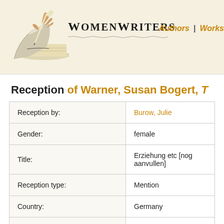WomenWriters | Authors | Works
Reception of Warner, Susan Bogert, T...
| Field | Value |
| --- | --- |
| Reception by: | Burow, Julie |
| Gender: | female |
| Title: | Erziehung etc [nog aanvullen] |
| Reception type: | Mention |
| Country: | Germany |
| Language used: |  |